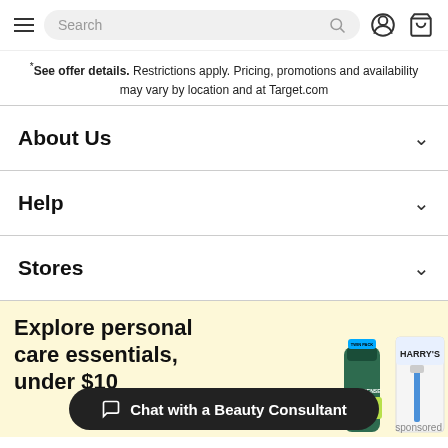Search navigation bar with hamburger menu, search field, user icon, and cart icon
*See offer details. Restrictions apply. Pricing, promotions and availability may vary by location and at Target.com
About Us
Help
Stores
[Figure (infographic): Advertisement banner with yellow background showing 'Explore personal care essentials, under $10' text alongside Degree deodorant and Harry's razor product images, with a 'Chat with a Beauty Consultant' dark pill button overlay]